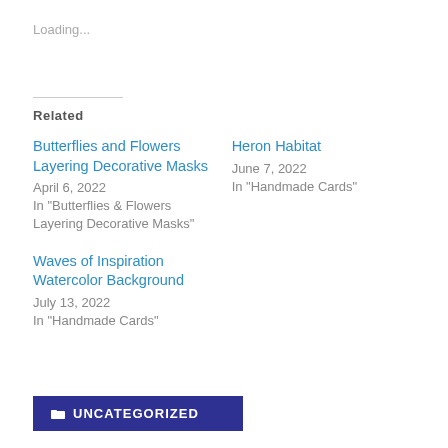Loading...
Related
Butterflies and Flowers Layering Decorative Masks
April 6, 2022
In "Butterflies & Flowers Layering Decorative Masks"
Heron Habitat
June 7, 2022
In "Handmade Cards"
Waves of Inspiration Watercolor Background
July 13, 2022
In "Handmade Cards"
UNCATEGORIZED